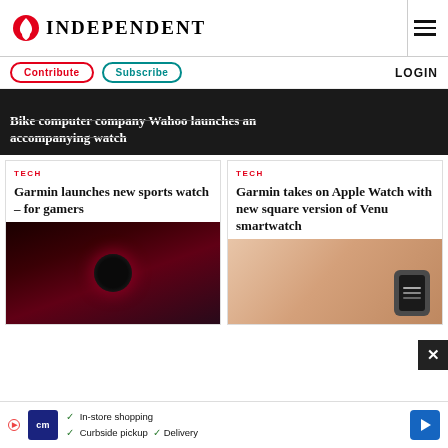INDEPENDENT
Contribute  Subscribe  LOGIN
Bike computer company Wahoo launches an accompanying watch
TECH
Garmin launches new sports watch – for gamers
TECH
Garmin takes on Apple Watch with new square version of Venu smartwatch
In-store shopping  Curbside pickup  Delivery